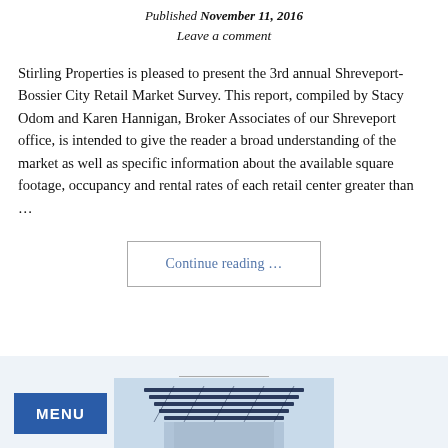Published November 11, 2016
Leave a comment
Stirling Properties is pleased to present the 3rd annual Shreveport-Bossier City Retail Market Survey. This report, compiled by Stacy Odom and Karen Hannigan, Broker Associates of our Shreveport office, is intended to give the reader a broad understanding of the market as well as specific information about the available square footage, occupancy and rental rates of each retail center greater than …
Continue reading …
[Figure (photo): Exterior photo of a building with blue-tinted architectural roof structure, with a MENU navigation button overlay in the bottom-left corner]